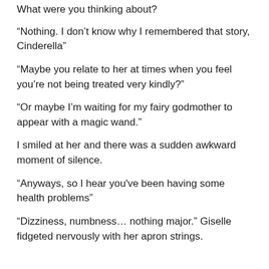What were you thinking about?
“Nothing. I don’t know why I remembered that story, Cinderella”
“Maybe you relate to her at times when you feel you’re not being treated very kindly?”
“Or maybe I’m waiting for my fairy godmother to appear with a magic wand.”
I smiled at her and there was a sudden awkward moment of silence.
“Anyways, so I hear you've been having some health problems”
“Dizziness, numbness… nothing major.” Giselle fidgeted nervously with her apron strings.